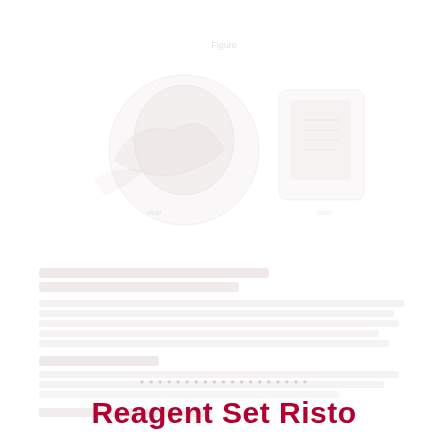[Figure (photo): Faded/watermarked background image showing laboratory or medical reagent imagery, very light and barely visible]
Faded descriptive text content (barely legible) discussing reagent set details and instructions
Reagent Set Risto